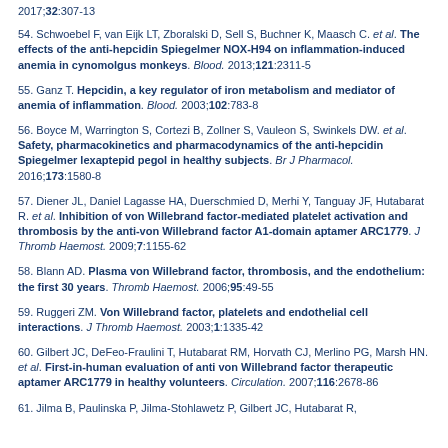2017;32:307-13
54. Schwoebel F, van Eijk LT, Zboralski D, Sell S, Buchner K, Maasch C. et al. The effects of the anti-hepcidin Spiegelmer NOX-H94 on inflammation-induced anemia in cynomolgus monkeys. Blood. 2013;121:2311-5
55. Ganz T. Hepcidin, a key regulator of iron metabolism and mediator of anemia of inflammation. Blood. 2003;102:783-8
56. Boyce M, Warrington S, Cortezi B, Zollner S, Vauleon S, Swinkels DW. et al. Safety, pharmacokinetics and pharmacodynamics of the anti-hepcidin Spiegelmer lexaptepid pegol in healthy subjects. Br J Pharmacol. 2016;173:1580-8
57. Diener JL, Daniel Lagasse HA, Duerschmied D, Merhi Y, Tanguay JF, Hutabarat R. et al. Inhibition of von Willebrand factor-mediated platelet activation and thrombosis by the anti-von Willebrand factor A1-domain aptamer ARC1779. J Thromb Haemost. 2009;7:1155-62
58. Blann AD. Plasma von Willebrand factor, thrombosis, and the endothelium: the first 30 years. Thromb Haemost. 2006;95:49-55
59. Ruggeri ZM. Von Willebrand factor, platelets and endothelial cell interactions. J Thromb Haemost. 2003;1:1335-42
60. Gilbert JC, DeFeo-Fraulini T, Hutabarat RM, Horvath CJ, Merlino PG, Marsh HN. et al. First-in-human evaluation of anti von Willebrand factor therapeutic aptamer ARC1779 in healthy volunteers. Circulation. 2007;116:2678-86
61. Jilma B, Paulinska P, Jilma-Stohlawetz P, Gilbert JC, Hutabarat R...